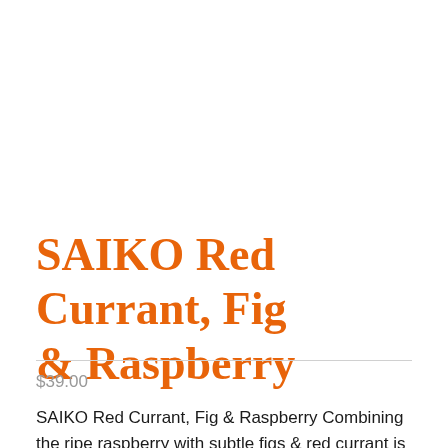SAIKO Red Currant, Fig & Raspberry
$39.00
SAIKO Red Currant, Fig & Raspberry Combining the ripe raspberry with subtle figs & red currant is a brilliant blend of